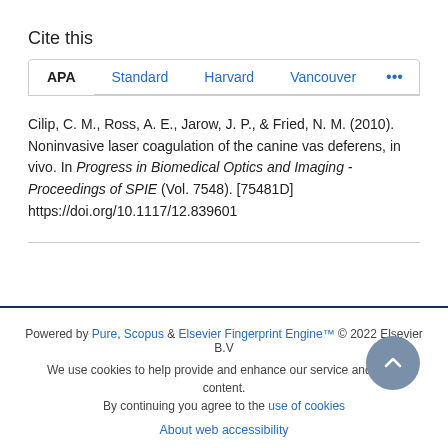Cite this
APA  Standard  Harvard  Vancouver  ...
Cilip, C. M., Ross, A. E., Jarow, J. P., & Fried, N. M. (2010). Noninvasive laser coagulation of the canine vas deferens, in vivo. In Progress in Biomedical Optics and Imaging - Proceedings of SPIE (Vol. 7548). [75481D] https://doi.org/10.1117/12.839601
Powered by Pure, Scopus & Elsevier Fingerprint Engine™ © 2022 Elsevier B.V
We use cookies to help provide and enhance our service and tailor content. By continuing you agree to the use of cookies
About web accessibility